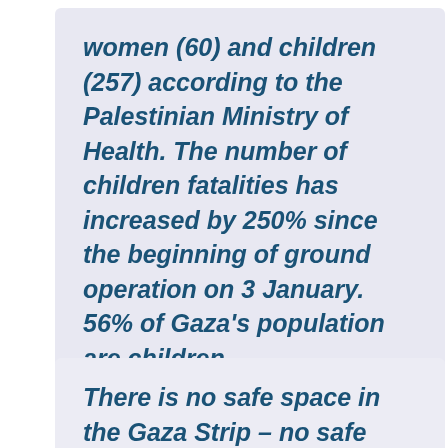women (60) and children (257) according to the Palestinian Ministry of Health. The number of children fatalities has increased by 250% since the beginning of ground operation on 3 January. 56% of Gaza's population are children.
There is no safe space in the Gaza Strip – no safe